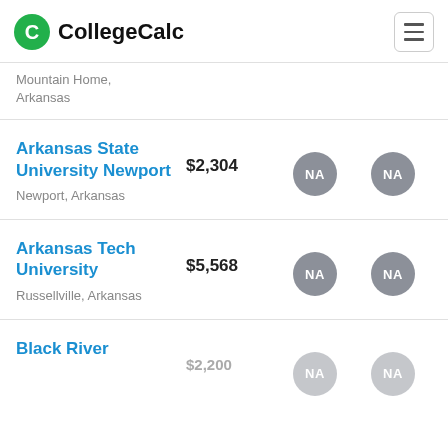CollegeCalc
Mountain Home, Arkansas
Arkansas State University Newport
Newport, Arkansas
$2,304
Arkansas Tech University
Russellville, Arkansas
$5,568
Black River...